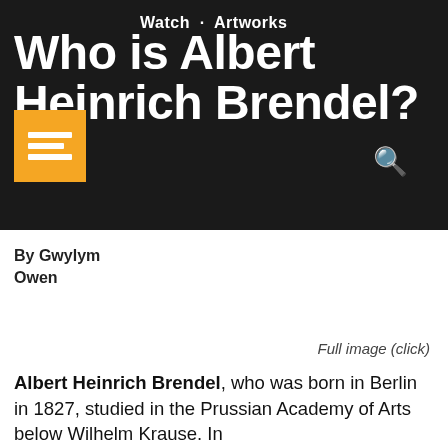Watch · Artworks
Who is Albert Heinrich Brendel?
By Gwylym Owen
Full image (click)
Albert Heinrich Brendel, who was born in Berlin in 1827, studied in the Prussian Academy of Arts below Wilhelm Krause. In